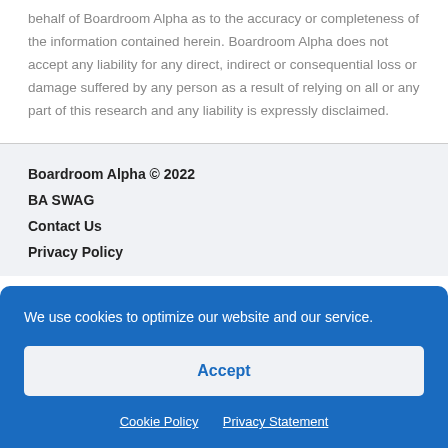behalf of Boardroom Alpha as to the accuracy or completeness of the information contained herein. Boardroom Alpha does not accept any liability for any direct, indirect or consequential loss or damage suffered by any person as a result of relying on all or any part of this research and any liability is expressly disclaimed.
Boardroom Alpha © 2022
BA SWAG
Contact Us
Privacy Policy
We use cookies to optimize our website and our service.
Accept
Cookie Policy   Privacy Statement